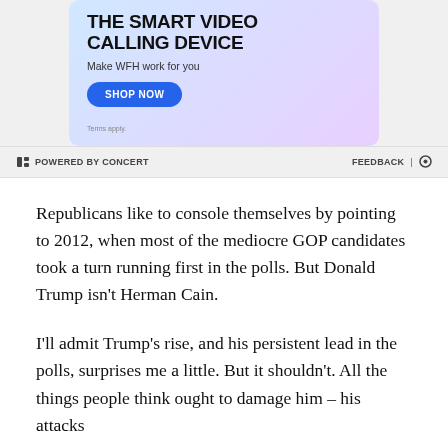[Figure (other): Advertisement banner for a smart video calling device with gradient blue-pink background, 'SHOP NOW' button, and 'Terms apply.' text]
POWERED BY CONCERT   FEEDBACK | ⚙
Republicans like to console themselves by pointing to 2012, when most of the mediocre GOP candidates took a turn running first in the polls. But Donald Trump isn't Herman Cain.
I'll admit Trump's rise, and his persistent lead in the polls, surprises me a little. But it shouldn't. All the things people think ought to damage him – his attacks